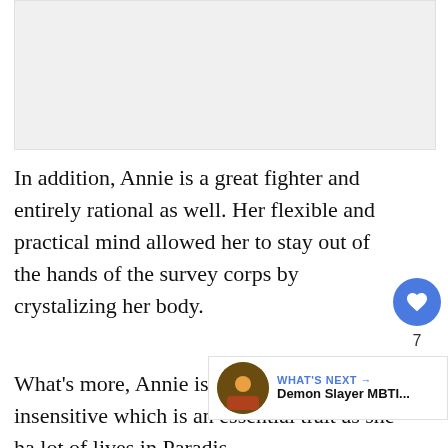[Figure (other): Gray image placeholder area at the top of the page]
In addition, Annie is a great fighter and entirely rational as well. Her flexible and practical mind allowed her to stay out of the hands of the survey corps by crystalizing her body.
What's more, Annie is also quote insensitive which is an essential trait as she ha lot of lives in Paradis.